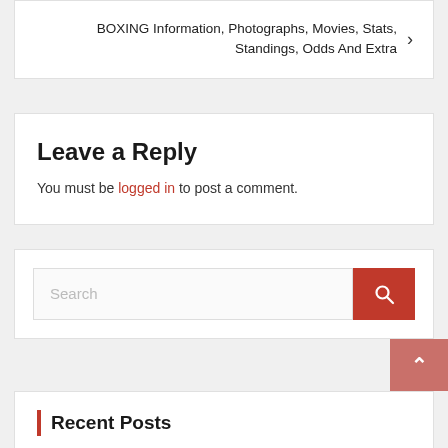BOXING Information, Photographs, Movies, Stats, Standings, Odds And Extra
Leave a Reply
You must be logged in to post a comment.
[Figure (other): Search bar with red search button]
Recent Posts
5 Questions to Ask Before Hiring Removalists